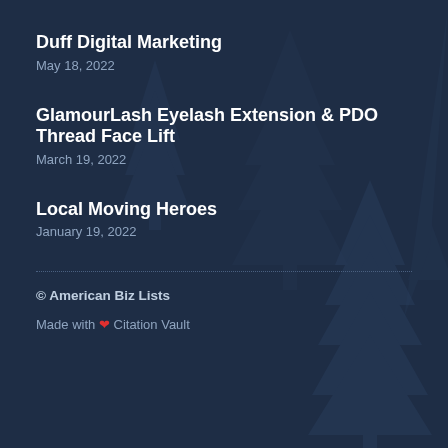Duff Digital Marketing
May 18, 2022
GlamourLash Eyelash Extension & PDO Thread Face Lift
March 19, 2022
Local Moving Heroes
January 19, 2022
© American Biz Lists
Made with ❤ Citation Vault